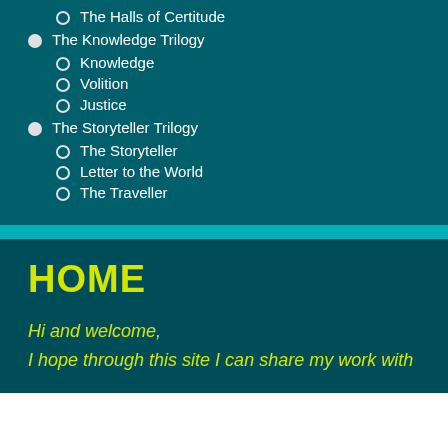The Halls of Certitude
The Knowledge Trilogy
Knowledge
Volition
Justice
The Storyteller Trilogy
The Storyteller
Letter to the World
The Traveller
HOME
Hi and welcome,
I hope through this site I can share my work with